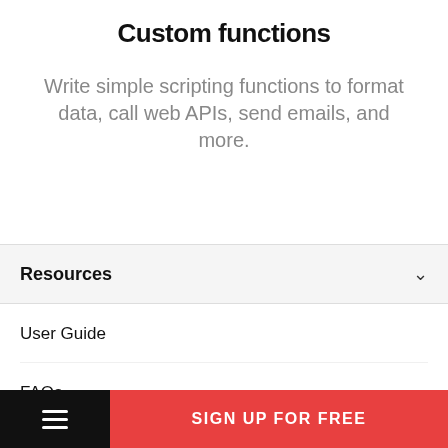Custom functions
Write simple scripting functions to format data, call web APIs, send emails, and more.
Resources
User Guide
FAQs
Community
SIGN UP FOR FREE